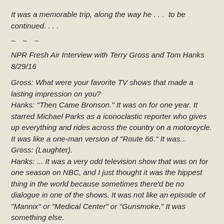It was a memorable trip, along the way he . . .  to be continued. . . .
~ ~ ~
NPR Fresh Air Interview with Terry Gross and Tom Hanks 8/29/16
Gross: What were your favorite TV shows that made a lasting impression on you?
Hanks: "Then Came Bronson." It was on for one year. It starred Michael Parks as a iconoclastic reporter who gives up everything and rides across the country on a motorcycle. It was like a one-man version of "Route 66." It was...
Gross: (Laughter).
Hanks: ... It was a very odd television show that was on for one season on NBC, and I just thought it was the hippest thing in the world because sometimes there'd be no dialogue in one of the shows. It was not like an episode of "Mannix" or "Medical Center" or "Gunsmoke." It was something else.